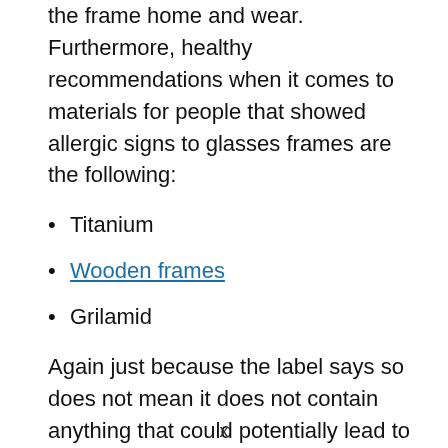the frame home and wear. Furthermore, healthy recommendations when it comes to materials for people that showed allergic signs to glasses frames are the following:
Titanium
Wooden frames
Grilamid
Again just because the label says so does not mean it does not contain anything that could potentially lead to an allergic reaction. So ask the optician before you buy. I also suggest going with the more premium
x